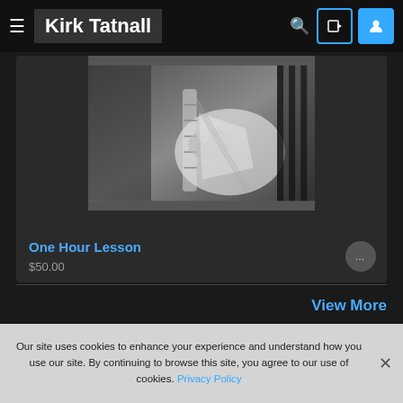Kirk Tatnall
[Figure (screenshot): Black and white photo of hands playing electric guitar (Stratocaster), cropped to show fretboard and strumming hand]
One Hour Lesson
$50.00
View More
LATEST NEWS
Email
Sign Up
Become a site community member
Our site uses cookies to enhance your experience and understand how you use our site. By continuing to browse this site, you agree to our use of cookies. Privacy Policy